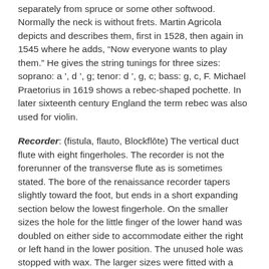separately from spruce or some other softwood. Normally the neck is without frets. Martin Agricola depicts and describes them, first in 1528, then again in 1545 where he adds, “Now everyone wants to play them.” He gives the string tunings for three sizes: soprano: aʹ, dʹ, g; tenor: dʹ, g, c; bass: g, c, F. Michael Praetorius in 1619 shows a rebec-shaped pochette. In later sixteenth century England the term rebec was also used for violin.
Recorder: (fistula, flauto, Blockflōte) The vertical duct flute with eight fingerholes. The recorder is not the forerunner of the transverse flute as is sometimes stated. The bore of the renaissance recorder tapers slightly toward the foot, but ends in a short expanding section below the lowest fingerhole. On the smaller sizes the hole for the little finger of the lower hand was doubled on either side to accommodate either the right or left hand in the lower position. The unused hole was stopped with wax. The larger sizes were fitted with a butterfly key for the same reason. There was no tuning joint; the smaller sizes were built